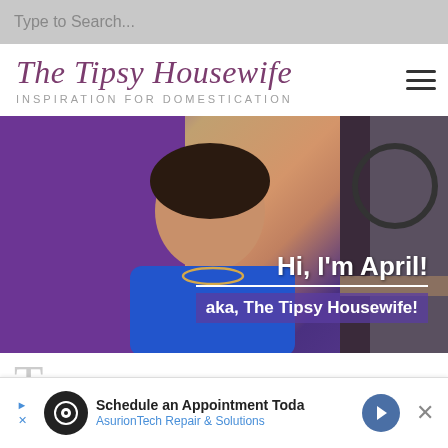Type to Search...
The Tipsy Housewife
INSPIRATION FOR DOMESTICATION
[Figure (photo): Photo of a smiling woman with dark hair wearing a blue top and necklace, with purple background. Text overlay reads 'Hi, I'm April!' and 'aka, The Tipsy Housewife!']
T
Schedule an Appointment Toda
Asurion Tech Repair & Solutions